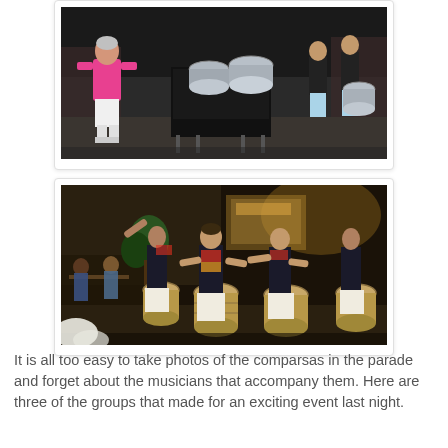[Figure (photo): Street parade photo showing a person in a pink shirt walking in front of a mobile drum kit platform with steel drums, surrounded by musicians in black shirts on a city street at night.]
[Figure (photo): Street parade photo showing a group of percussionists playing large drums and wearing decorative costumes on a city street at night, with spectators visible in the background.]
It is all too easy to take photos of the comparsas in the parade and forget about the musicians that accompany them. Here are three of the groups that made for an exciting event last night.